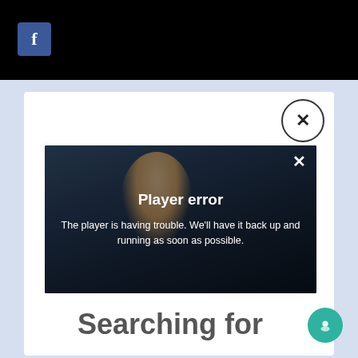[Figure (screenshot): Black top bar with Facebook button (blue square with white 'f')]
[Figure (screenshot): Video player showing a player error message overlay. Text reads 'Player error' and 'The player is having trouble. We'll have it back up and running as soon as possible.' An X close button is in the top-right of the video. A circular X button appears at the top-right of the modal card.]
Searching for